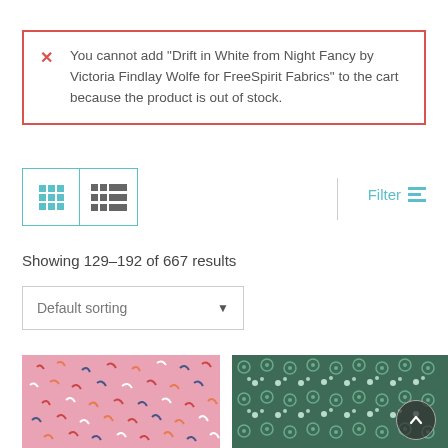You cannot add "Drift in White from Night Fancy by Victoria Findlay Wolfe for FreeSpirit Fabrics" to the cart because the product is out of stock.
[Figure (screenshot): View toggle buttons: grid view (active, teal) and list view]
Filter
Showing 129–192 of 667 results
Default sorting
[Figure (photo): Pink fabric with colorful curved marks pattern]
[Figure (photo): Dark green fabric with white floral/circle pattern]